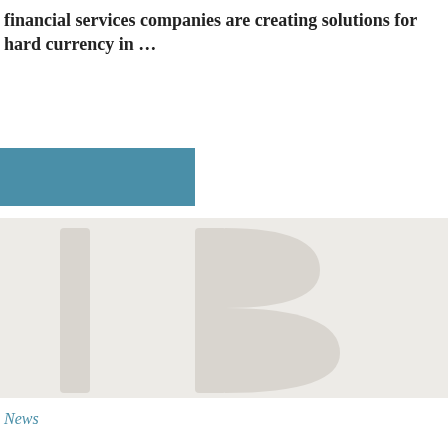financial services companies are creating solutions for hard currency in …
[Figure (other): Teal/steel-blue filled rectangle, decorative element]
[Figure (other): Large light gray beige background area with a faint watermark showing letters 'IB' or similar publisher logo in very light gray]
News